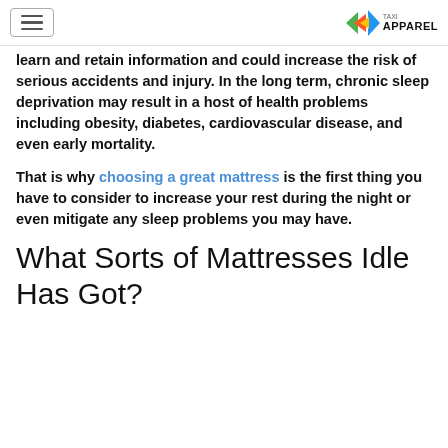[hamburger menu] [TAXI APPAREL logo]
learn and retain information and could increase the risk of serious accidents and injury. In the long term, chronic sleep deprivation may result in a host of health problems including obesity, diabetes, cardiovascular disease, and even early mortality.
That is why choosing a great mattress is the first thing you have to consider to increase your rest during the night or even mitigate any sleep problems you may have.
What Sorts of Mattresses Idle Has Got?